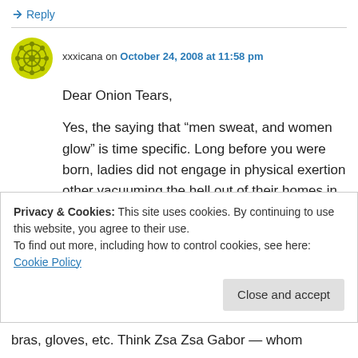↳ Reply
xxxicana on October 24, 2008 at 11:58 pm
Dear Onion Tears,

Yes, the saying that “men sweat, and women glow” is time specific. Long before you were born, ladies did not engage in physical exertion other vacuuming the hell out of their homes in dresses, pearls, and heels (all the while tweaking on legally obtained “diet” pills). We call
Privacy & Cookies: This site uses cookies. By continuing to use this website, you agree to their use.
To find out more, including how to control cookies, see here: Cookie Policy
Close and accept
bras, gloves, etc. Think Zsa Zsa Gabor — whom